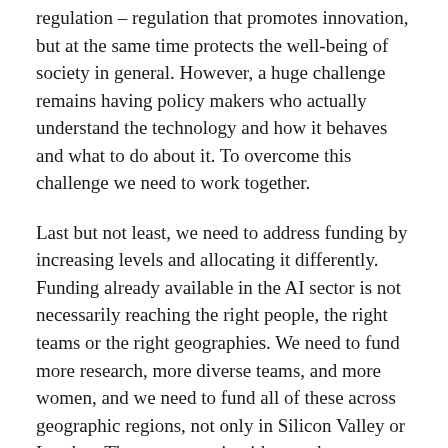regulation – regulation that promotes innovation, but at the same time protects the well-being of society in general. However, a huge challenge remains having policy makers who actually understand the technology and how it behaves and what to do about it. To overcome this challenge we need to work together.
Last but not least, we need to address funding by increasing levels and allocating it differently. Funding already available in the AI sector is not necessarily reaching the right people, the right teams or the right geographies. We need to fund more research, more diverse teams, and more women, and we need to fund all of these across geographic regions, not only in Silicon Valley or London. There are amazing ideas and tremendous talent that are not necessarily in these locations.